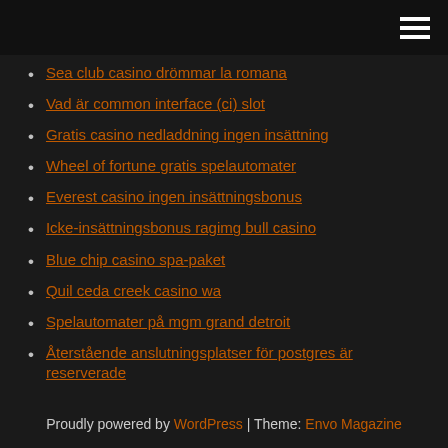Navigation menu (hamburger icon)
Sea club casino drömmar la romana
Vad är common interface (ci) slot
Gratis casino nedladdning ingen insättning
Wheel of fortune gratis spelautomater
Everest casino ingen insättningsbonus
Icke-insättningsbonus ragimg bull casino
Blue chip casino spa-paket
Quil ceda creek casino wa
Spelautomater på mgm grand detroit
Återstående anslutningsplatser för postgres är reserverade
Proudly powered by WordPress | Theme: Envo Magazine